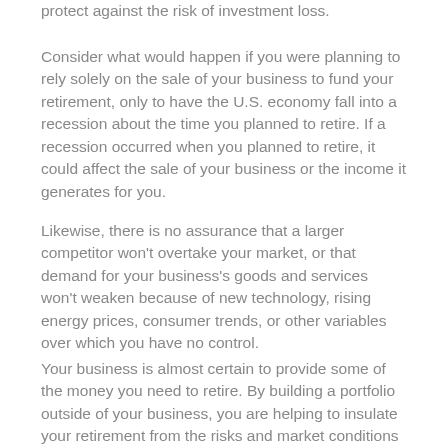protect against the risk of investment loss.
Consider what would happen if you were planning to rely solely on the sale of your business to fund your retirement, only to have the U.S. economy fall into a recession about the time you planned to retire. If a recession occurred when you planned to retire, it could affect the sale of your business or the income it generates for you.
Likewise, there is no assurance that a larger competitor won't overtake your market, or that demand for your business's goods and services won't weaken because of new technology, rising energy prices, consumer trends, or other variables over which you have no control.
Your business is almost certain to provide some of the money you need to retire. By building a portfolio outside of your business, you are helping to insulate your retirement from the risks and market conditions that can affect your business.